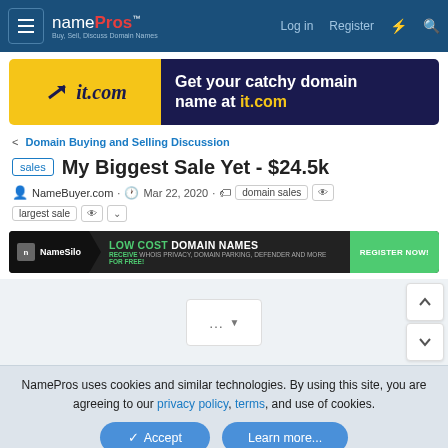namePros — Log in · Register
[Figure (screenshot): it.com advertisement banner: Get your catchy domain name at it.com]
< Domain Buying and Selling Discussion
sales  My Biggest Sale Yet - $24.5k
NameBuyer.com · Mar 22, 2020 · domain sales · largest sale
[Figure (screenshot): NameSilo advertisement: LOW COST DOMAIN NAMES — REGISTER NOW]
... ▾
NamePros uses cookies and similar technologies. By using this site, you are agreeing to our privacy policy, terms, and use of cookies.